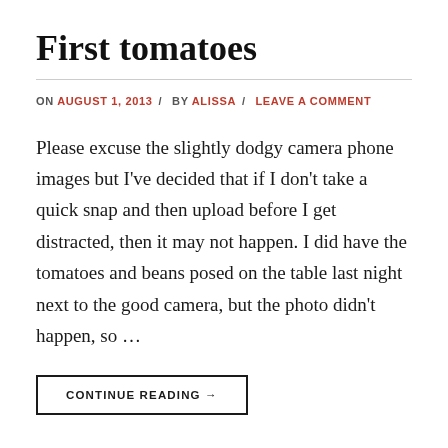First tomatoes
ON AUGUST 1, 2013 / BY ALISSA / LEAVE A COMMENT
Please excuse the slightly dodgy camera phone images but I've decided that if I don't take a quick snap and then upload before I get distracted, then it may not happen. I did have the tomatoes and beans posed on the table last night next to the good camera, but the photo didn't happen, so …
CONTINUE READING →